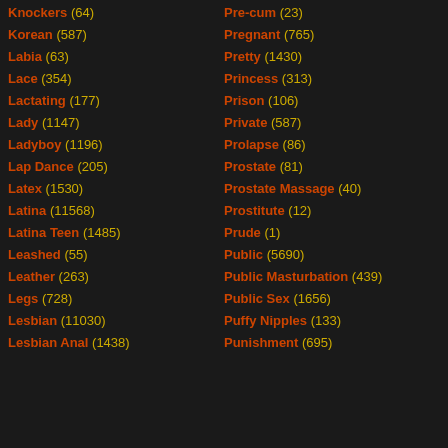Knockers (64)
Korean (587)
Labia (63)
Lace (354)
Lactating (177)
Lady (1147)
Ladyboy (1196)
Lap Dance (205)
Latex (1530)
Latina (11568)
Latina Teen (1485)
Leashed (55)
Leather (263)
Legs (728)
Lesbian (11030)
Lesbian Anal (1438)
Pre-cum (23)
Pregnant (765)
Pretty (1430)
Princess (313)
Prison (106)
Private (587)
Prolapse (86)
Prostate (81)
Prostate Massage (40)
Prostitute (12)
Prude (1)
Public (5690)
Public Masturbation (439)
Public Sex (1656)
Puffy Nipples (133)
Punishment (695)